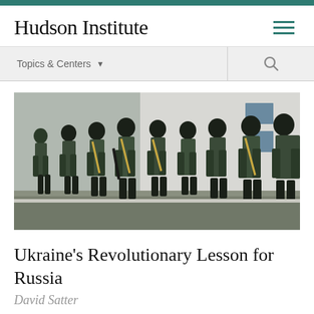Hudson Institute
[Figure (photo): A column of soldiers dressed in green military uniforms and black helmets/balaclavas marching in formation along a paved road in front of a white building. They carry rifles and wear tactical gear with yellow-tan straps.]
Ukraine's Revolutionary Lesson for Russia
David Satter